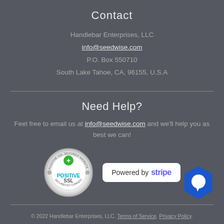Contact
Handlebar Enterprises, LLC
info@seedwise.com
P.O. Box 550710
South Lake Tahoe, CA, 96155, U.S.A
Need Help?
Feel free to email us at info@seedwise.com and we'll help you as best we can!
[Figure (logo): Positive SSL Secured Website badge - circular metallic badge with green plus icon and text POSITIVE SSL, SECURED BY COMODO]
[Figure (logo): Powered by stripe badge - white rounded rectangle with text Powered by stripe]
[Figure (illustration): Blue hexagonal chat bubble icon in bottom right corner]
© 2022 Handlebar Enterprises, LLC. Terms of Service. Privacy Policy.